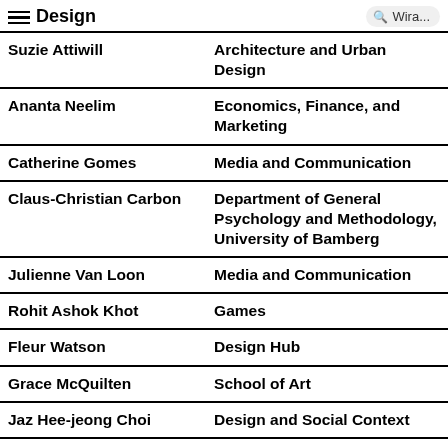Design   Wira...
| Name | Department |
| --- | --- |
| Suzie Attiwill | Architecture and Urban Design |
| Ananta Neelim | Economics, Finance, and Marketing |
| Catherine Gomes | Media and Communication |
| Claus-Christian Carbon | Department of General Psychology and Methodology, University of Bamberg |
| Julienne Van Loon | Media and Communication |
| Rohit Ashok Khot | Games |
| Fleur Watson | Design Hub |
| Grace McQuilten | School of Art |
| Jaz Hee-jeong Choi | Design and Social Context |
| Kate Black... | Design Hub... |